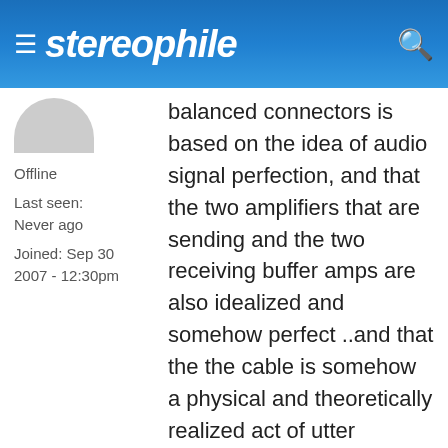stereophile
Offline
Last seen:
Never ago
Joined: Sep 30 2007 - 12:30pm
balanced connectors is based on the idea of audio signal perfection, and that the two amplifiers that are sending and the two receiving buffer amps are also idealized and somehow perfect ..and that the the cable is somehow a physical and theoretically realized act of utter transmission perfection..and all these things theoretically add up to a signal that is handled to utter perfection.